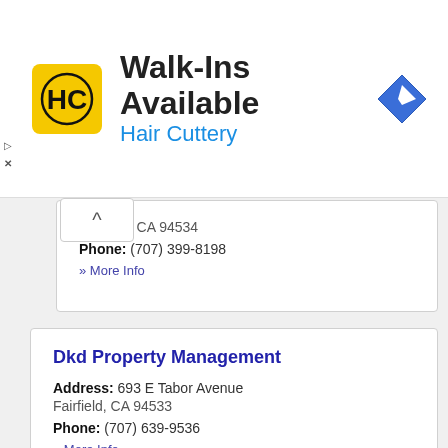[Figure (logo): Hair Cuttery advertisement banner with HC logo, 'Walk-Ins Available' headline, 'Hair Cuttery' subtext, and a navigation/direction icon]
Fairfield, CA 94534
Phone: (707) 399-8198
» More Info
Dkd Property Management
Address: 693 E Tabor Avenue
Fairfield, CA 94533
Phone: (707) 639-9536
» More Info
East Travis Apartments